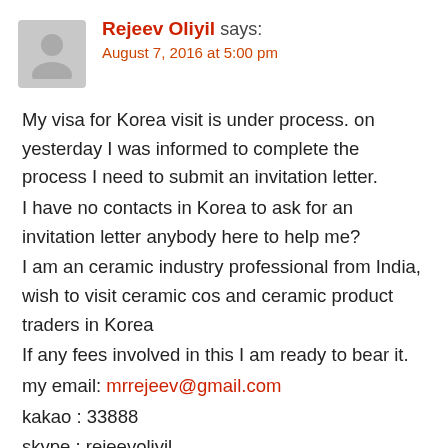Rejeev Oliyil says: August 7, 2016 at 5:00 pm
My visa for Korea visit is under process. on yesterday I was informed to complete the process I need to submit an invitation letter.
I have no contacts in Korea to ask for an invitation letter anybody here to help me?
I am an ceramic industry professional from India, wish to visit ceramic cos and ceramic product traders in Korea
If any fees involved in this I am ready to bear it.
my email: mrrejeev@gmail.com
kakao : 33888
skype : rejeevoliyil